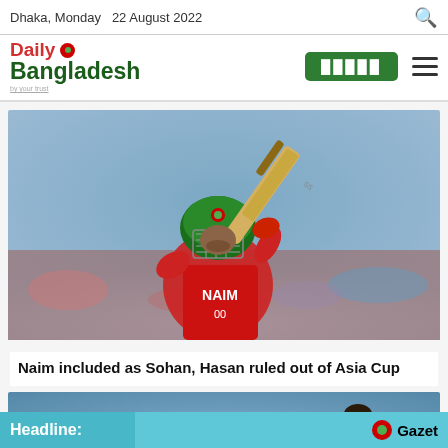Dhaka, Monday  22 August 2022
Daily Bangladesh
[Figure (photo): Bangladesh cricket player Naim wearing a red jersey and green helmet, swinging a bat at a cricket match]
Naim included as Sohan, Hasan ruled out of Asia Cup
[Figure (photo): Second cricket photo showing a bowler in action with blurred background crowd]
Headline:   Gazet